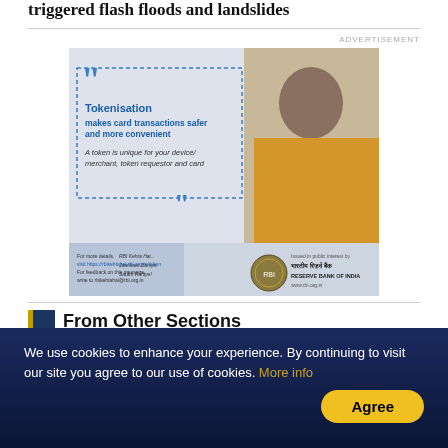triggered flash floods and landslides
ADVERTISEMENT
[Figure (infographic): RBI Tokenisation advertisement featuring a celebrity in a yellow hoodie. Text reads: Tokenisation makes card transactions safer and more convenient. A token is unique for your device/merchant, token requestor and card. RBI Kehta Hai... Jaankaar Baniye, Satark Rahiye! For more details, visit https://rbikehtahai.rbi.org.in/token. For feedback on this message, write to rbikehtahai@rbi.org.in. Issued in public interest by Reserve Bank of India. www.rbi.org.in]
From Other Sections
Rising Ganga set to cross warning...
We use cookies to enhance your experience. By continuing to visit our site you agree to our use of cookies. More info